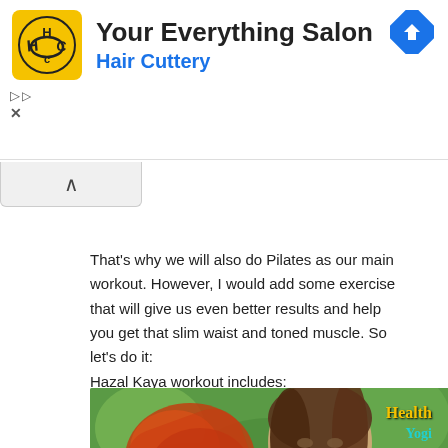[Figure (other): Hair Cuttery advertisement banner with HC logo, text 'Your Everything Salon' and 'Hair Cuttery', navigation arrow icon, play and close controls]
[Figure (other): Collapse/accordion chevron up button]
That's why we will also do Pilates as our main workout. However, I would add some exercise that will give us even better results and help you get that slim waist and toned muscle. So let's do it:
Hazal Kaya workout includes:
[Figure (photo): Photo of Hazal Kaya, a young woman with long brown hair, smiling, holding a colorful red and gold decorative piece. Health Yogi watermark in top right corner. Background is blurred green foliage.]